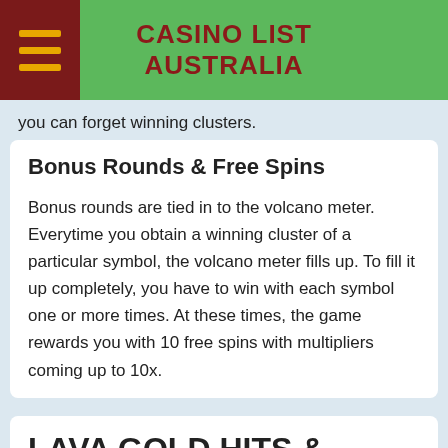CASINO LIST AUSTRALIA
you can forget winning clusters.
Bonus Rounds & Free Spins
Bonus rounds are tied in to the volcano meter. Everytime you obtain a winning cluster of a particular symbol, the volcano meter fills up. To fill it up completely, you have to win with each symbol one or more times. At these times, the game rewards you with 10 free spins with multipliers coming up to 10x.
LAVA GOLD HITS & MISSES
The graphics of the Lava Gold slot are very done well, and we can appreciate the little effects like smoke coming out of the volcano. But here's an instant summary of the